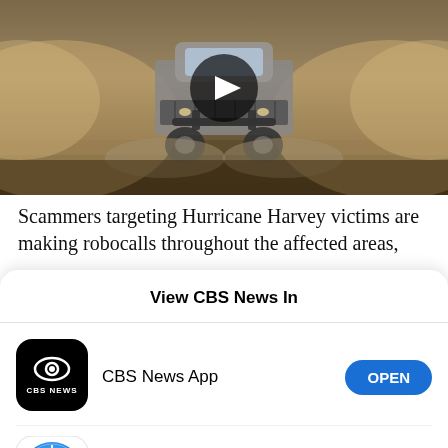[Figure (screenshot): Video thumbnail showing a truck driving through muddy floodwaters with dust/water spray, with a play button overlay]
Scammers targeting Hurricane Harvey victims are making robocalls throughout the affected areas,
View CBS News In
[Figure (logo): CBS News App icon - black rounded square with CBS eye logo and CBS NEWS text]
CBS News App
[Figure (logo): Safari browser icon - blue compass on white rounded square]
Safari